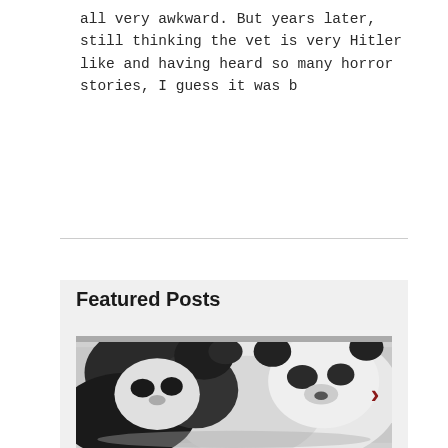all very awkward. But years later, still thinking the vet is very Hitler like and having heard so many horror stories, I guess it was b
Featured Posts
[Figure (photo): Black and white photograph of two pandas, one appearing to nuzzle or interact closely with the other. A red right-arrow navigation chevron is visible on the right side of the image.]